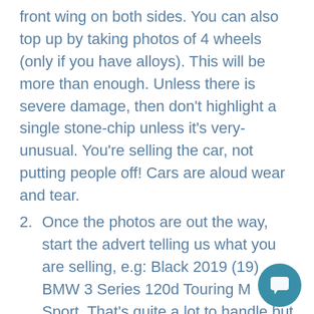front wing on both sides. You can also top up by taking photos of 4 wheels (only if you have alloys). This will be more than enough. Unless there is severe damage, then don't highlight a single stone-chip unless it's very-unusual. You're selling the car, not putting people off! Cars are aloud wear and tear.
2. Once the photos are out the way, start the advert telling us what you are selling, e.g: Black 2019 (19) BMW 3 Series 120d Touring M Sport. That's quite a lot to handle but tells us exactly what you are selling: COLOUR-YEAR(REG)-MAKE-MODEL-TYPE-TRIM
3. Now we know what you are selling, go into a short paragraph about why you are selling and how it's been for you in your ownership. You don't need to say that it's been "nothing but